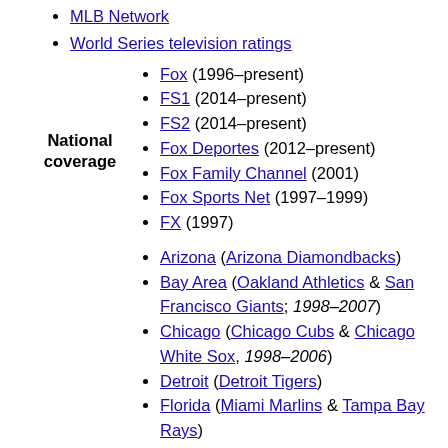MLB Network
World Series television ratings
Fox (1996–present)
FS1 (2014–present)
FS2 (2014–present)
Fox Deportes (2012–present)
Fox Family Channel (2001)
Fox Sports Net (1997–1999)
FX (1997)
National coverage
Arizona (Arizona Diamondbacks)
Bay Area (Oakland Athletics & San Francisco Giants; 1998–2007)
Chicago (Chicago Cubs & Chicago White Sox, 1998–2006)
Detroit (Detroit Tigers)
Florida (Miami Marlins & Tampa Bay Rays)
Houston (Houston Astros, 2009–2012)
Kansas City (Kansas City